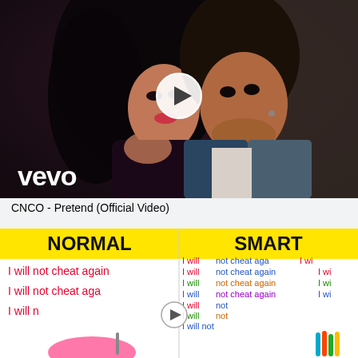[Figure (photo): YouTube video thumbnail for CNCO - Pretend (Official Video) showing a couple close together with Vevo logo and play button overlay]
CNCO - Pretend (Official Video)
[Figure (infographic): Split comparison image with yellow headers showing NORMAL vs SMART, with handwritten lines 'I will not cheat again' written multiple times on each side - NORMAL side has single color lines, SMART side has multicolor lines written in bulk]